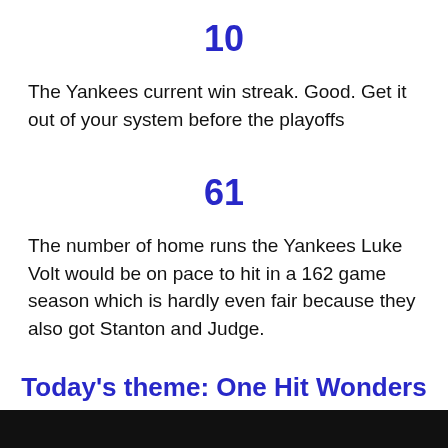10
The Yankees current win streak. Good. Get it out of your system before the playoffs
61
The number of home runs the Yankees Luke Volt would be on pace to hit in a 162 game season which is hardly even fair because they also got Stanton and Judge.
Today's theme: One Hit Wonders
[Figure (photo): Photo strip at bottom of page, dark/black background with partial image]